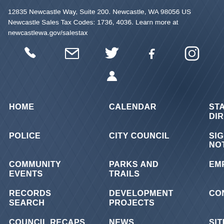12835 Newcastle Way, Suite 200. Newcastle, WA 98056 US
Newcastle Sales Tax Codes: 1736, 4036. Learn more at newcastlewa.gov/salestax
[Figure (infographic): Row of social media/contact icons: phone, email, Twitter bird, Facebook f, Instagram camera, and a person/user icon below Twitter]
HOME
CALENDAR
STAFF DIRECTORY
POLICE
CITY COUNCIL
SIGN UP FOR NOTICES
COMMUNITY EVENTS
PARKS AND TRAILS
EMPLOYMENT
RECORDS SEARCH
DEVELOPMENT PROJECTS
CONTACT US
COUNCIL RECAPS
NEWS
SITE MAP